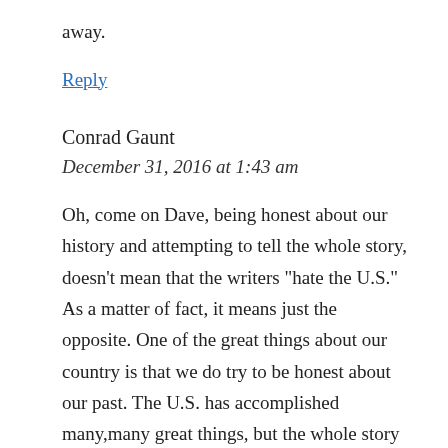away.
Reply
Conrad Gaunt
December 31, 2016 at 1:43 am
Oh, come on Dave, being honest about our history and attempting to tell the whole story, doesn’t mean that the writers “hate the U.S.” As a matter of fact, it means just the opposite. One of the great things about our country is that we do try to be honest about our past. The U.S. has accomplished many,many great things, but the whole story wouldn’t be complete without an open and honest discussion of such negative